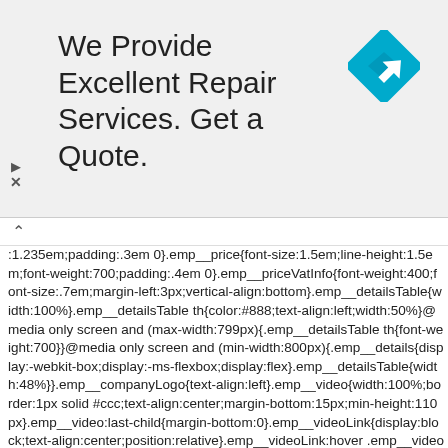We Provide Excellent Repair Services. Get a Quote.
[Figure (logo): Blue diamond/rhombus shaped navigation icon with a white right-turn arrow]
^  :1.235em;padding:.3em 0}.emp__price{font-size:1.5em;line-height:1.5em;font-weight:700;padding:.4em 0}.emp__priceVatInfo{font-weight:400;font-size:.7em;margin-left:3px;vertical-align:bottom}.emp__detailsTable{width:100%}.emp__detailsTable th{color:#888;text-align:left;width:50%}@media only screen and (max-width:799px){.emp__detailsTable th{font-weight:700}}@media only screen and (min-width:800px){.emp__details{display:-webkit-box;display:-ms-flexbox;display:flex}.emp__detailsTable{width:48%}}.emp__companyLogo{text-align:left}.emp__video{width:100%;border:1px solid #ccc;text-align:center;margin-bottom:15px;min-height:110px}.emp__video:last-child{margin-bottom:0}.emp__videoLink{display:block;text-align:center;position:relative}.emp__videoLink:hover .emp__videoLink:after{opacity:1}.emp__videoLink:after{content:'';background:transparent url{data:image/png;base64;iVBORw0KGgoAAAANNSUhEUgAAAh